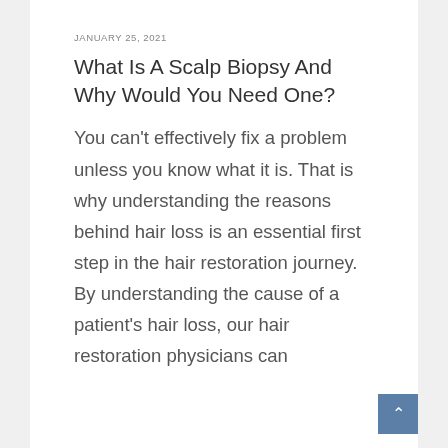JANUARY 25, 2021
What Is A Scalp Biopsy And Why Would You Need One?
You can't effectively fix a problem unless you know what it is. That is why understanding the reasons behind hair loss is an essential first step in the hair restoration journey. By understanding the cause of a patient's hair loss, our hair restoration physicians can